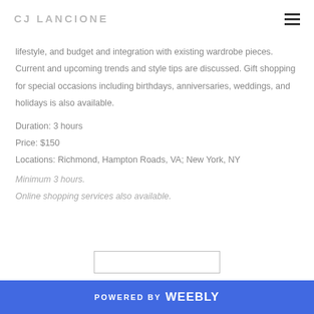CJ LANCIONE
lifestyle, and budget and integration with existing wardrobe pieces. Current and upcoming trends and style tips are discussed. Gift shopping for special occasions including birthdays, anniversaries, weddings, and holidays is also available.
Duration: 3 hours
Price: $150
Locations: Richmond, Hampton Roads, VA; New York, NY
Minimum 3 hours.
Online shopping services also available.
POWERED BY weebly